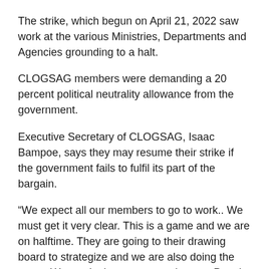The strike, which begun on April 21, 2022 saw work at the various Ministries, Departments and Agencies grounding to a halt.
CLOGSAG members were demanding a 20 percent political neutrality allowance from the government.
Executive Secretary of CLOGSAG, Isaac Bampoe, says they may resume their strike if the government fails to fulfil its part of the bargain.
“We expect all our members to go to work.. We must get it very clear. This is a game and we are on halftime. They are going to their drawing board to strategize and we are also doing the same. We won’t give our game plan out. People can make all the noise but we the technical people will keep to our game plan,” he said.
CLOGSAG’s strike has been hinged on their demand for